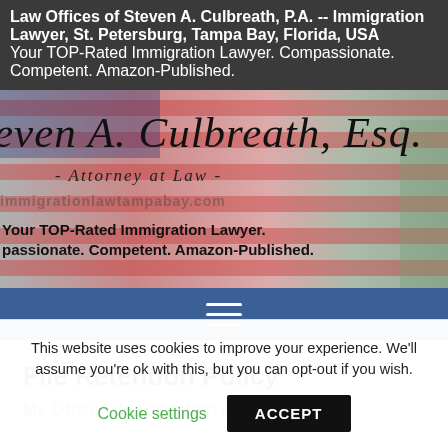Law Offices of Steven A. Culbreath, P.A. -- Immigration Lawyer, St. Petersburg, Tampa Bay, Florida, USA
Your TOP-Rated Immigration Lawyer. Compassionate. Competent. Amazon-Published.
[Figure (illustration): Banner image with American flag and Statue of Liberty background. Cursive text reads 'even A. Culbreath, Esq.' with '- Attorney at Law -' below. URL 'immigrationlawtampabay.com' watermarked. Tagline: 'Your TOP-Rated Immigration Lawyer. Compassionate. Competent. Amazon-Published.']
File Retention Policy
My Office File Retention / Document
This website uses cookies to improve your experience. We'll assume you're ok with this, but you can opt-out if you wish.
Cookie settings    ACCEPT